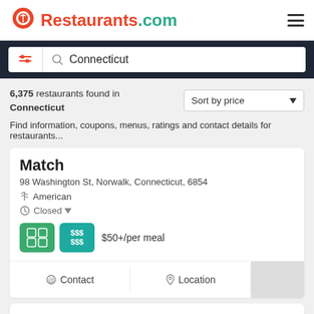Restaurants.com
Connecticut
6,375 restaurants found in Connecticut
Sort by price
Find information, coupons, menus, ratings and contact details for restaurants...
Match
98 Washington St, Norwalk, Connecticut, 6854
American
Closed
$50+/per meal
Contact
Location
John Davenport's